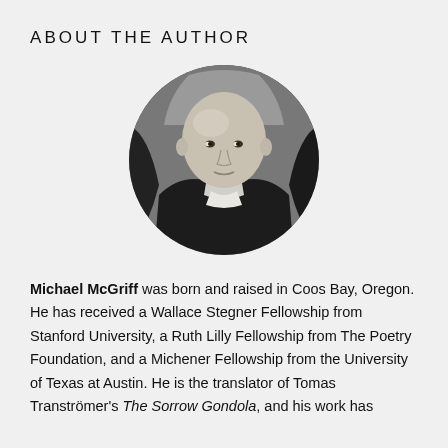ABOUT THE AUTHOR
[Figure (photo): Circular black-and-white headshot of Michael McGriff, a bald man wearing a dark jacket, photographed against a blurred background with partial letters visible.]
Michael McGriff was born and raised in Coos Bay, Oregon. He has received a Wallace Stegner Fellowship from Stanford University, a Ruth Lilly Fellowship from The Poetry Foundation, and a Michener Fellowship from the University of Texas at Austin. He is the translator of Tomas Tranströmer's The Sorrow Gondola, and his work has